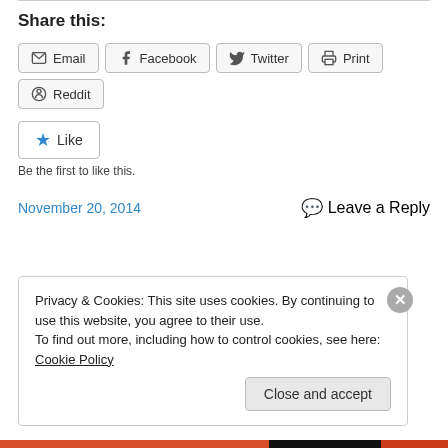Share this:
Email
Facebook
Twitter
Print
Reddit
Like
Be the first to like this.
November 20, 2014
Leave a Reply
Privacy & Cookies: This site uses cookies. By continuing to use this website, you agree to their use.
To find out more, including how to control cookies, see here: Cookie Policy
Close and accept